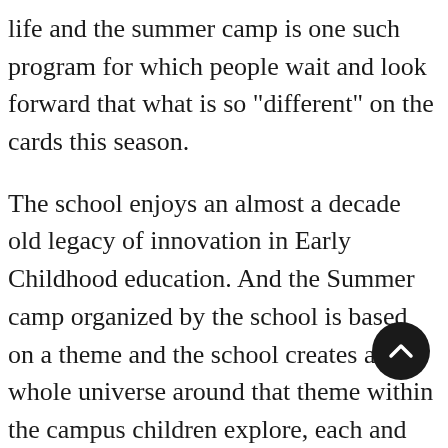life and the summer camp is one such program for which people wait and look forward that what is so "different" on the cards this season.
The school enjoys an almost a decade old legacy of innovation in Early Childhood education. And the Summer camp organized by the school is based on a theme and the school creates a whole universe around that theme within the campus children explore, each and every element of that theme or character during the summer camp and this year the theme is 'Jumanji', various programs have been curated specifically to the various age group so that there is a lot for children of each group.
Sachi Bhardwaj the principal of the school said: " I have